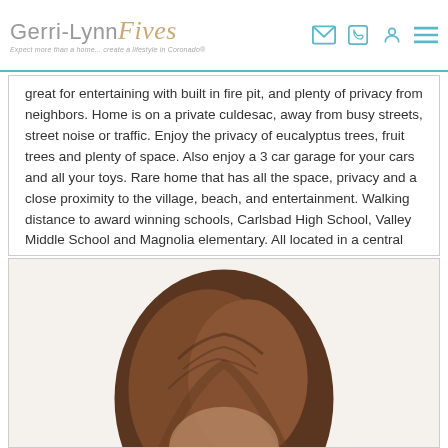Gerri-Lynn Fives — Expect more than a home... create a lifestyle in Coronado®
great for entertaining with built in fire pit, and plenty of privacy from neighbors. Home is on a private culdesac, away from busy streets, street noise or traffic. Enjoy the privacy of eucalyptus trees, fruit trees and plenty of space. Also enjoy a 3 car garage for your cars and all your toys. Rare home that has all the space, privacy and a close proximity to the village, beach, and entertainment. Walking distance to award winning schools, Carlsbad High School, Valley Middle School and Magnolia elementary. All located in a central location.
[Figure (photo): Portrait photo of a person, partially visible from the top of the head with brown/auburn hair, cropped at the bottom of the page.]